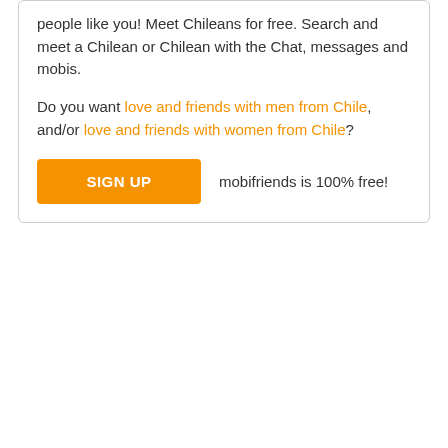people like you! Meet Chileans for free. Search and meet a Chilean or Chilean with the Chat, messages and mobis.
Do you want love and friends with men from Chile, and/or love and friends with women from Chile?
SIGN UP   mobifriends is 100% free!